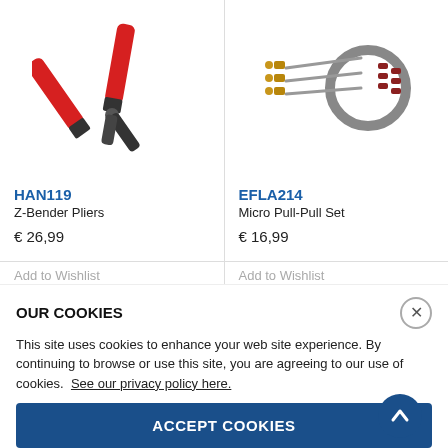[Figure (photo): Z-Bender Pliers with red handles and black jaws]
[Figure (photo): Micro Pull-Pull Set with cable, needles, and fittings]
HAN119
Z-Bender Pliers
€ 26,99
EFLA214
Micro Pull-Pull Set
€ 16,99
Add to Wishlist
Add to Wishlist
OUR COOKIES
This site uses cookies to enhance your web site experience. By continuing to browse or use this site, you are agreeing to our use of cookies.  See our privacy policy here.
ACCEPT COOKIES